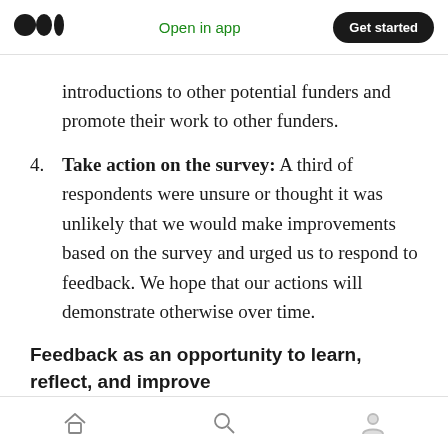Open in app | Get started
introductions to other potential funders and promote their work to other funders.
4. Take action on the survey: A third of respondents were unsure or thought it was unlikely that we would make improvements based on the survey and urged us to respond to feedback. We hope that our actions will demonstrate otherwise over time.
Feedback as an opportunity to learn, reflect, and improve
Since the survey, we've been reflecting on what
Home | Search | Profile